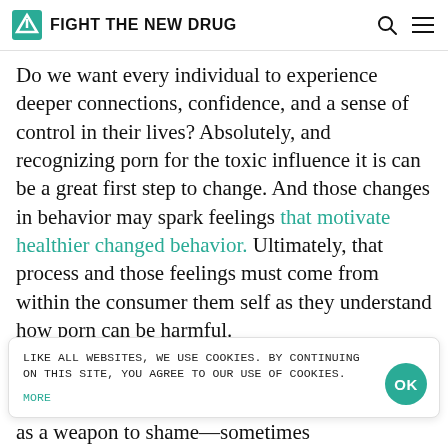FIGHT THE NEW DRUG
Do we want every individual to experience deeper connections, confidence, and a sense of control in their lives? Absolutely, and recognizing porn for the toxic influence it is can be a great first step to change. And those changes in behavior may spark feelings that motivate healthier changed behavior. Ultimately, that process and those feelings must come from within the consumer them self as they understand how porn can be harmful.
LIKE ALL WEBSITES, WE USE COOKIES. BY CONTINUING ON THIS SITE, YOU AGREE TO OUR USE OF COOKIES. MORE
as a weapon to shame—sometimes